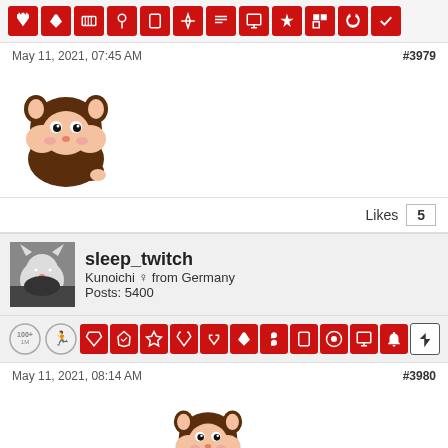[Figure (other): Forum post badges/icons row in red]
May 11, 2021, 07:45 AM
#3979
[Figure (illustration): Cute cartoon hamster/bear sticker emoji]
Likes  5
[Figure (photo): Avatar photo of a white cat]
sleep_twitch
Kunoichi ♀ from Germany
Posts: 5400
[Figure (other): Forum badges row with medals and red icons]
May 11, 2021, 08:14 AM
#3980
So sorry for your loss
[Figure (illustration): Cute cartoon hamster/bear sticker emoji]